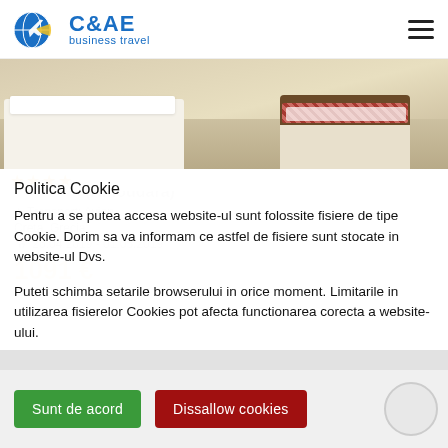C&AE business travel
[Figure (photo): Hotel room photo showing beds with white linens and a floral headboard]
Politica Cookie
Pentru a se putea accesa website-ul sunt folossite fisiere de tipe Cookie. Dorim sa va informam ce astfel de fisiere sunt stocate in website-ul Dvs.
Puteti schimba setarile browserului in orice moment. Limitarile in utilizarea fisierelor Cookies pot afecta functionarea corecta a website-ului.
Sunt de acord
Dissallow cookies